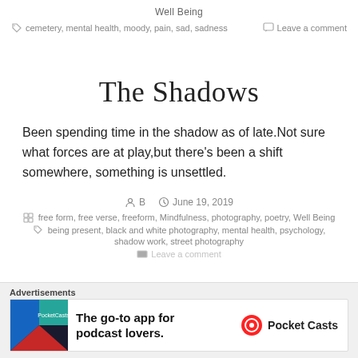Well Being
cemetery, mental health, moody, pain, sad, sadness   Leave a comment
The Shadows
Been spending time in the shadow as of late.Not sure what forces are at play,but there’s been a shift somewhere, something is unsettled.
B   June 19, 2019
free form, free verse, freeform, Mindfulness, photography, poetry, Well Being
being present, black and white photography, mental health, psychology, shadow work, street photography
Leave a comment
[Figure (infographic): Advertisement banner for Pocket Casts app: The go-to app for podcast lovers.]